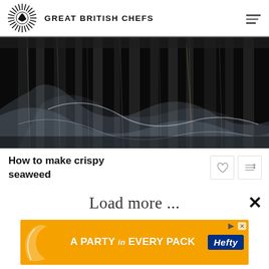GREAT BRITISH CHEFS
[Figure (photo): Close-up dark photo of seaweed strands and translucent sheets against a black background]
How to make crispy seaweed
Load more ...
[Figure (infographic): Orange advertisement banner: A PARTY in EVERY PACK - Hefty brand logo]
Home
Recipes